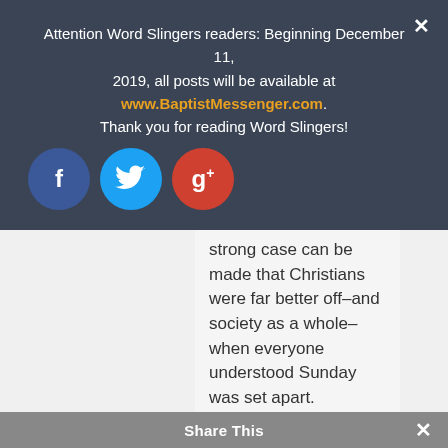Attention Word Slingers readers: Beginning December 11, 2019, all posts will be available at www.BaptistMessenger.com. Thank you for reading Word Slingers!
[Figure (infographic): Three social media share buttons: Facebook (blue circle with f), Twitter (light blue circle with bird), Google+ (red circle with g+)]
strong case can be made that Christians were far better off–and society as a whole– when everyone understood Sunday was set apart.
Each week, the ringing church bells and quieting of commerce stood as a testame...desire to
Share This